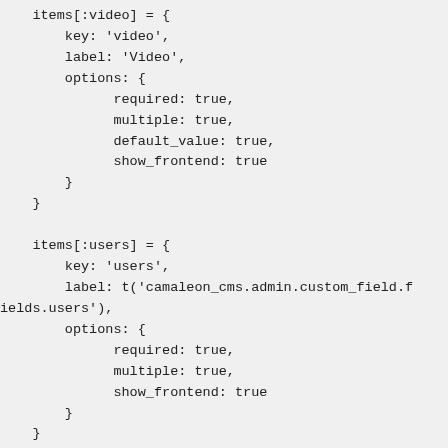items[:video] = {
        key: 'video',
        label: 'Video',
        options: {
              required: true,
              multiple: true,
              default_value: true,
              show_frontend: true
        }
    }

    items[:users] = {
        key: 'users',
        label: t('camaleon_cms.admin.custom_field.fields.users'),
        options: {
              required: true,
              multiple: true,
              show_frontend: true
        }
    }

    items[:posts] = {
        key: 'posts',
        label: t('camaleon_cms.admin.custom_field.f